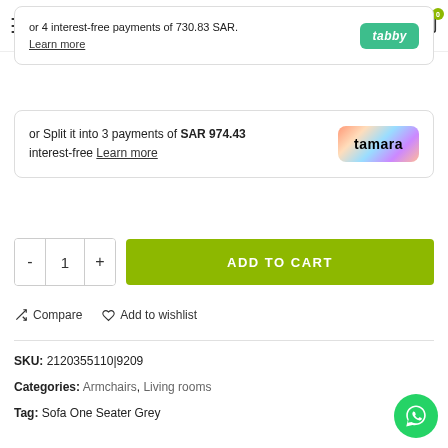Woody Home Office Furniture
or 4 interest-free payments of 730.83 SAR. Learn more [tabby]
or Split it into 3 payments of SAR 974.43 interest-free Learn more [tamara]
- 1 + ADD TO CART
Compare   Add to wishlist
SKU: 2120355110|9209
Categories: Armchairs, Living rooms
Tag: Sofa One Seater Grey